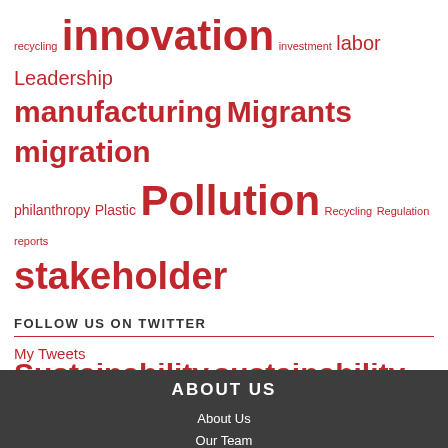[Figure (other): Tag cloud with sustainability and environmental topics in red, varying font sizes. Words: recycling, innovation, investment, labor, Leadership, manufacturing, Migrants, migration, philanthropy, Plastic, Pollution, Recycling, Regulation, reports, stakeholder engagement, students, Sustainability, sustainability ambassadors, technology, transparency, transportation, urbanization, waste, water]
FOLLOW US ON TWITTER
My Tweets
ABOUT US
About Us
Our Team